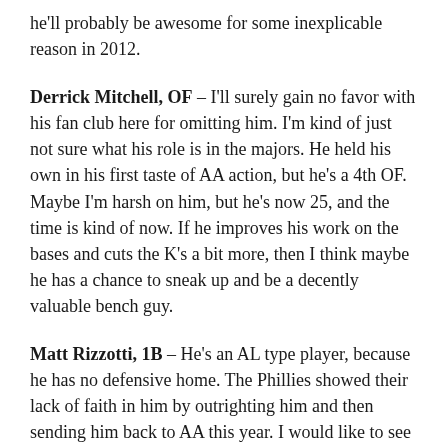he'll probably be awesome for some inexplicable reason in 2012.
Derrick Mitchell, OF – I'll surely gain no favor with his fan club here for omitting him. I'm kind of just not sure what his role is in the majors. He held his own in his first taste of AA action, but he's a 4th OF. Maybe I'm harsh on him, but he's now 25, and the time is kind of now. If he improves his work on the bases and cuts the K's a bit more, then I think maybe he has a chance to sneak up and be a decently valuable bench guy.
Matt Rizzotti, 1B – He's an AL type player, because he has no defensive home. The Phillies showed their lack of faith in him by outrighting him and then sending him back to AA this year. I would like to see him get a shot at being a bench type hitter, but because he has zero (or a negative) defensive value, it probably won't happen here. The requirements for first base are just so astronomically high offensive that they're like...